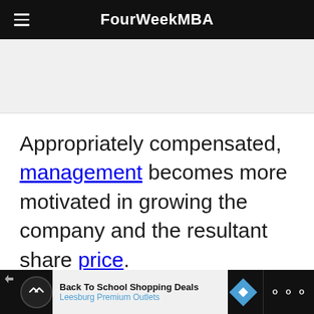FourWeekMBA
[Figure (other): Gray placeholder image block]
Appropriately compensated, management becomes more motivated in growing the company and the resultant share price.
However, congruence is not always
Back To School Shopping Deals Leesburg Premium Outlets